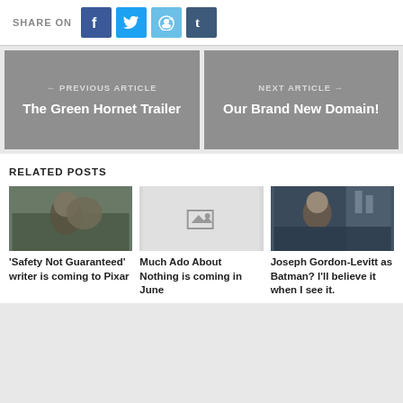SHARE ON
[Figure (infographic): Social share buttons: Facebook, Twitter, Reddit, Tumblr]
← PREVIOUS ARTICLE
The Green Hornet Trailer
NEXT ARTICLE →
Our Brand New Domain!
RELATED POSTS
[Figure (photo): Movie still showing two people outdoors]
'Safety Not Guaranteed' writer is coming to Pixar
[Figure (photo): Placeholder image thumbnail]
Much Ado About Nothing is coming in June
[Figure (photo): Joseph Gordon-Levitt in a cityscape]
Joseph Gordon-Levitt as Batman? I'll believe it when I see it.